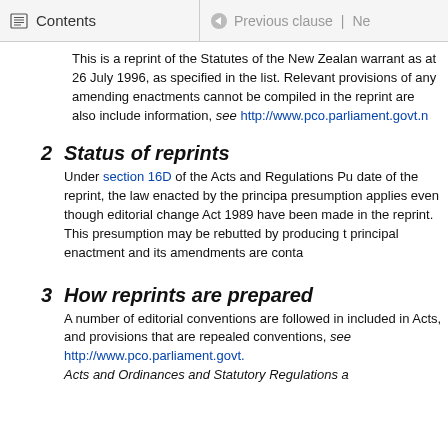Contents | Previous clause | Ne
This is a reprint of the Statutes of the New Zealand warrant as at 26 July 1996, as specified in the list. Relevant provisions of any amending enactments cannot be compiled in the reprint are also included. information, see http://www.pco.parliament.govt.n
2 Status of reprints
Under section 16D of the Acts and Regulations Pu date of the reprint, the law enacted by the principa presumption applies even though editorial change Act 1989 have been made in the reprint. This presumption may be rebutted by producing t principal enactment and its amendments are conta
3 How reprints are prepared
A number of editorial conventions are followed in included in Acts, and provisions that are repealed conventions, see http://www.pco.parliament.govt. Acts and Ordinances and Statutory Regulations a